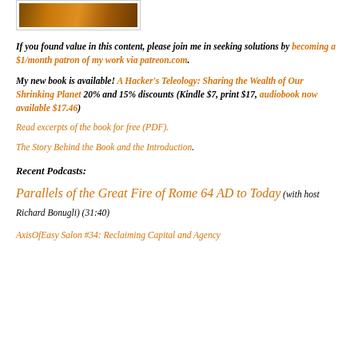[Figure (photo): Photograph of a building with warm orange/amber lighting at night, shown in a bordered frame]
If you found value in this content, please join me in seeking solutions by becoming a $1/month patron of my work via patreon.com.
My new book is available! A Hacker's Teleology: Sharing the Wealth of Our Shrinking Planet 20% and 15% discounts (Kindle $7, print $17, audiobook now available $17.46)
Read excerpts of the book for free (PDF).
The Story Behind the Book and the Introduction.
Recent Podcasts:
Parallels of the Great Fire of Rome 64 AD to Today (with host Richard Bonugli) (31:40)
AxisOfEasy Salon #34: Reclaiming Capital and Agency